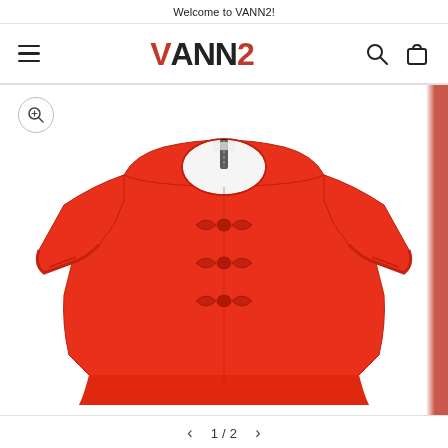Welcome to VANN2!
[Figure (logo): VANN2 brand logo with hamburger menu on left and search/cart icons on right]
[Figure (photo): Red blouse/top with three bow details at front center, round neckline, 3/4 length sleeves, a-line silhouette, displayed on white background. A partial red item is visible on the right edge of the frame.]
1 / 2